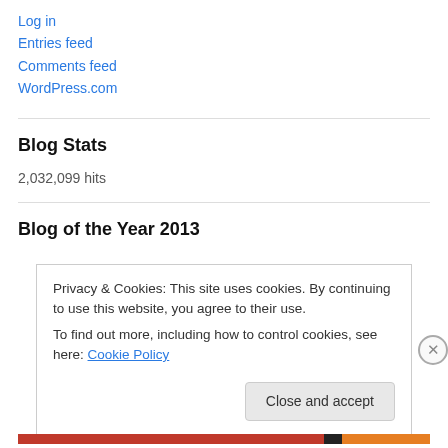Log in
Entries feed
Comments feed
WordPress.com
Blog Stats
2,032,099 hits
Blog of the Year 2013
Privacy & Cookies: This site uses cookies. By continuing to use this website, you agree to their use.
To find out more, including how to control cookies, see here: Cookie Policy
Close and accept